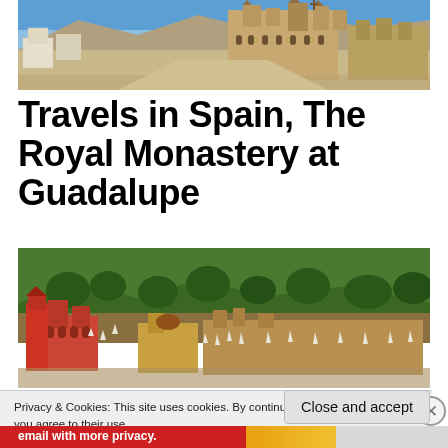[Figure (photo): Panoramic view of the Royal Monastery at Guadalupe, Spain — ornate Gothic/Mudéjar cathedral with towers against a blue sky, white and stone-colored buildings in the foreground]
Travels in Spain, The Royal Monastery at Guadalupe
[Figure (photo): Second panoramic view of the Royal Monastery at Guadalupe — red and ochre monastery buildings with pointed white decorative elements, set against green forested hillside]
Privacy & Cookies: This site uses cookies. By continuing to use this website, you agree to their use.
To find out more, including how to control cookies, see here: Cookie Policy
Close and accept
email with more privacy.